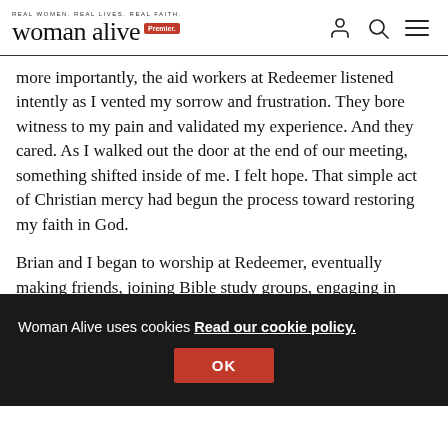REAL WOMEN. REAL LIVES. REAL FAITH. | Premier | woman alive
more importantly, the aid workers at Redeemer listened intently as I vented my sorrow and frustration. They bore witness to my pain and validated my experience. And they cared. As I walked out the door at the end of our meeting, something shifted inside of me. I felt hope. That simple act of Christian mercy had begun the process toward restoring my faith in God.
Brian and I began to worship at Redeemer, eventually making friends, joining Bible study groups, engaging in ch... pr... C...
Woman Alive uses cookies Read our cookie policy. OK
Paying it forward